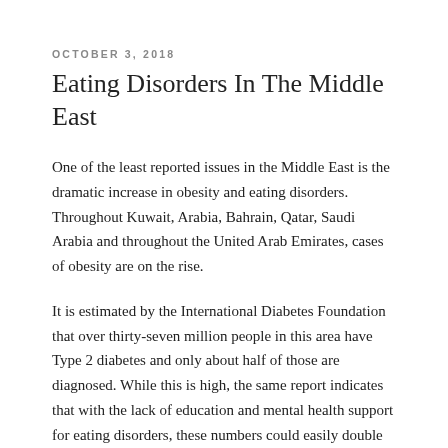OCTOBER 3, 2018
Eating Disorders In The Middle East
One of the least reported issues in the Middle East is the dramatic increase in obesity and eating disorders. Throughout Kuwait, Arabia, Bahrain, Qatar, Saudi Arabia and throughout the United Arab Emirates, cases of obesity are on the rise.
It is estimated by the International Diabetes Foundation that over thirty-seven million people in this area have Type 2 diabetes and only about half of those are diagnosed. While this is high, the same report indicates that with the lack of education and mental health support for eating disorders, these numbers could easily double over the next two decades.